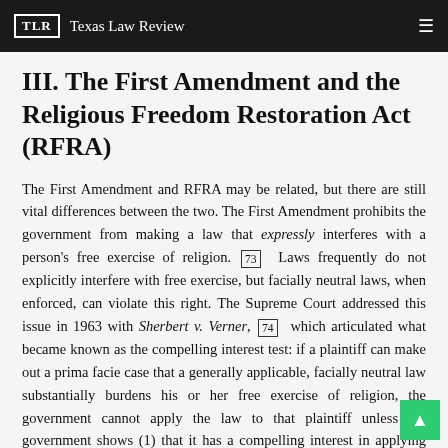TLR Texas Law Review
III. The First Amendment and the Religious Freedom Restoration Act (RFRA)
The First Amendment and RFRA may be related, but there are still vital differences between the two. The First Amendment prohibits the government from making a law that expressly interferes with a person's free exercise of religion. [73] Laws frequently do not explicitly interfere with free exercise, but facially neutral laws, when enforced, can violate this right. The Supreme Court addressed this issue in 1963 with Sherbert v. Verner, [74] which articulated what became known as the compelling interest test: if a plaintiff can make out a prima facie case that a generally applicable, facially neutral law substantially burdens his or her free exercise of religion, the government cannot apply the law to that plaintiff unless the government shows (1) that it has a compelling interest in applying the law and